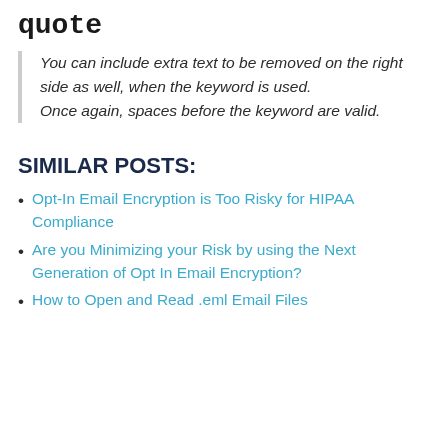quote
You can include extra text to be removed on the right side as well, when the keyword is used.
Once again, spaces before the keyword are valid.
SIMILAR POSTS:
Opt-In Email Encryption is Too Risky for HIPAA Compliance
Are you Minimizing your Risk by using the Next Generation of Opt In Email Encryption?
How to Open and Read .eml Email Files